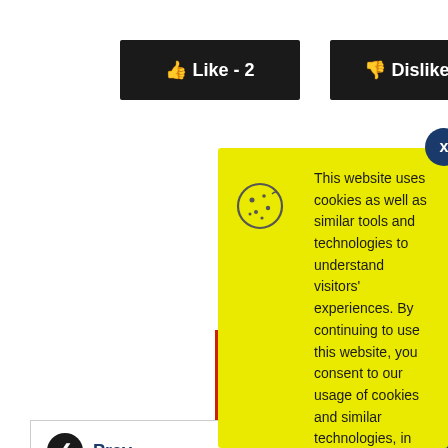[Figure (screenshot): Like button with thumbs up icon showing 'Like - 2' in white text on dark background]
[Figure (screenshot): Dislike button with thumbs down icon showing 'Dislike - 0' in white text on dark background]
[Figure (screenshot): Cookie consent modal popup with yellow background. Contains cookie icon, consent text, and Accept button. Text: 'This website uses cookies as well as similar tools and technologies to understand visitors' experiences. By continuing to use this website, you consent to our usage of cookies and similar technologies, in accordance with our Cookie and Privacy Policy.']
[Figure (screenshot): Previous navigation link with left arrow circle icon and 'Prev' text label in dark blue]
[Figure (screenshot): Scroll to top dark blue button at bottom right corner]